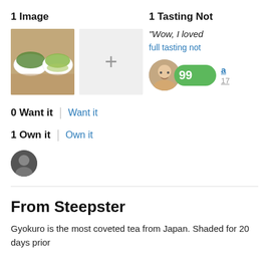1 Image
[Figure (photo): Two bowls of green tea (gyokuro) on a wooden surface]
[Figure (other): Add image placeholder with plus sign]
0 Want it
Want it
1 Own it
Own it
[Figure (photo): Small avatar of user who owns it]
1 Tasting Not
“Wow, I loved
full tasting not
[Figure (photo): Reviewer avatar with score badge showing 99]
a
17
From Steepster
Gyokuro is the most coveted tea from Japan. Shaded for 20 days prior